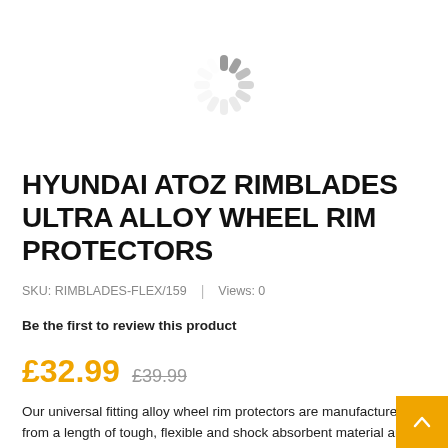[Figure (other): Loading spinner / ajax loader icon in gray]
HYUNDAI ATOZ RIMBLADES ULTRA ALLOY WHEEL RIM PROTECTORS
SKU: RIMBLADES-FLEX/159  |  Views: 0
Be the first to review this product
£32.99  £39.99
Our universal fitting alloy wheel rim protectors are manufactured from a length of tough, flexible and shock absorbent material and have undergone full digital stress and performance testing.